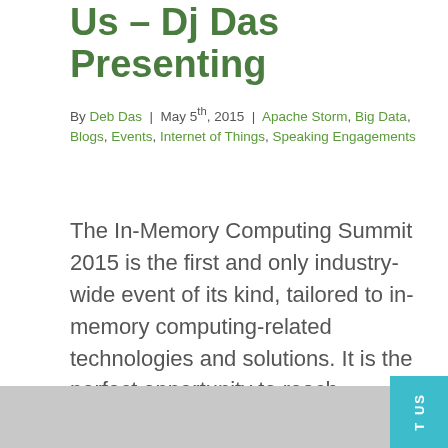Us – Dj Das Presenting
By Deb Das | May 5th, 2015 | Apache Storm, Big Data, Blogs, Events, Internet of Things, Speaking Engagements
The In-Memory Computing Summit 2015 is the first and only industry-wide event of its kind, tailored to in-memory computing-related technologies and solutions. It is the perfect opportunity to reach technical [...]
Read More >